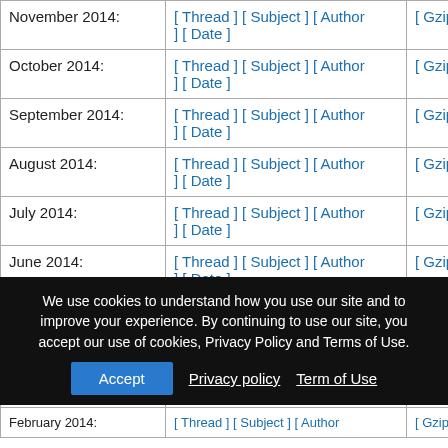| Month | Sort Options | Download |
| --- | --- | --- |
| November 2014: | [ Thread ] [ Subject ] [ Author ] [ Date ] | [ Gzip'd Text 16 KB ] |
| October 2014: | [ Thread ] [ Subject ] [ Author ] [ Date ] | [ Gzip'd Text 42 KB ] |
| September 2014: | [ Thread ] [ Subject ] [ Author ] [ Date ] | [ Gzip'd Text 20 KB ] |
| August 2014: | [ Thread ] [ Subject ] [ Author ] [ Date ] | [ Gzip'd Text 34 KB ] |
| July 2014: | [ Thread ] [ Subject ] [ Author ] [ Date ] | [ Gzip'd Text 16 KB ] |
| June 2014: | [ Thread ] [ Subject ] [ Author ] [ Date ] | [ Gzip'd Text 10 KB ] |
| May 2014: | [ Thread ] [ Subject ] [ Author ] [ Date ] | [ Gzip'd Text 28 KB ] |
| A… | … | …] |
| M… | … | …] |
| February 2014: | [ Thread ] [ Subject ] [ Author ] | [ Gzip'd Text 30 KB ] |
We use cookies to understand how you use our site and to improve your experience. By continuing to use our site, you accept our use of cookies, Privacy Policy and Terms of Use.
Accept | Privacy policy | Term of Use